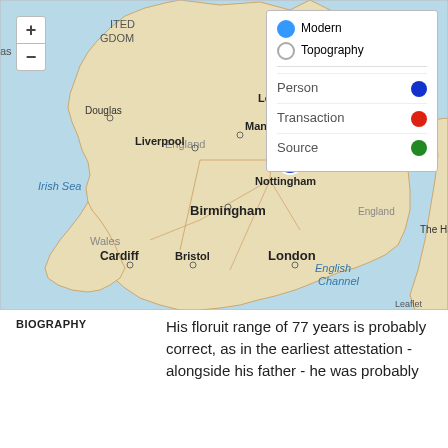[Figure (map): Interactive map of the United Kingdom showing England, Wales, Scotland, and surrounding seas. A blue dot marker is placed at Nottingham. Cities labeled include Newcastle upon Tyne, Leeds, Manchester, Liverpool, Birmingham, Cardiff, Bristol, London. Legend shows map style options (Modern selected, Topography) and entity types (Person=blue, Transaction=red, Source=green). Leaflet attribution shown.]
BIOGRAPHY
His floruit range of 77 years is probably correct, as in the earliest attestation - alongside his father - he was probably